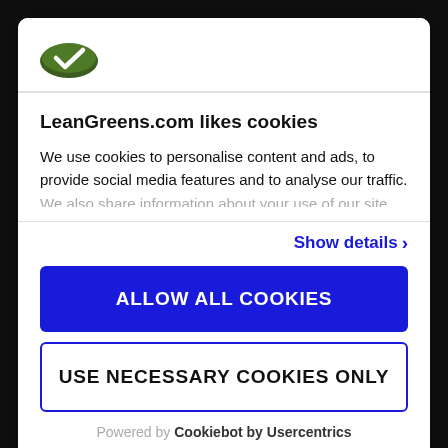[Figure (logo): LeanGreens.com logo — green oval with white checkmark]
LeanGreens.com likes cookies
We use cookies to personalise content and ads, to provide social media features and to analyse our traffic. We also share information about your use of our site
Show details >
ALLOW ALL COOKIES
USE NECESSARY COOKIES ONLY
Powered by Cookiebot by Usercentrics
results.